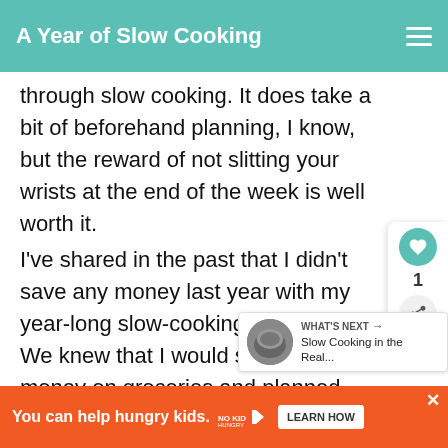A Year of Slow Cooking
through slow cooking. It does take a bit of beforehand planning, I know, but the reward of not slitting your wrists at the end of the week is well worth it.
I've shared in the past that I didn't save any money last year with my year-long slow-cooking challenge. We knew that I would spend more money on groceries and planned accordingly. I'm so glad that last year was last year, because I'd have a hard time jus... the spices I bought last year and the duck
[Figure (screenshot): What's Next panel showing 'Slow Cooking in the Real...' with crockpot thumbnail image]
[Figure (infographic): Ad banner: orange background, 'You can help hungry kids.' with No Kid Hungry logo and LEARN HOW button]